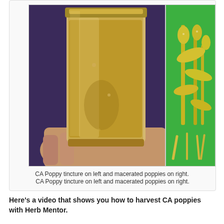[Figure (photo): Two photos side by side: left photo shows a hand holding a large glass mason jar filled with an amber/golden-brown liquid (CA Poppy tincture); right photo (partially visible, cropped) shows macerated poppy plants with yellow-green stems and leaves on a bright green background.]
CA Poppy tincture on left and macerated poppies on right.
Here's a video that shows you how to harvest CA poppies with Herb Mentor.